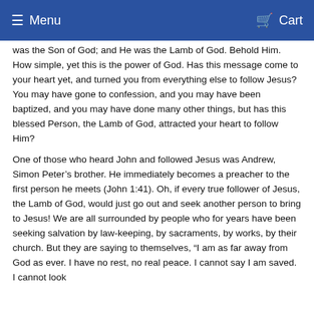Menu   Cart
was the Son of God; and He was the Lamb of God. Behold Him. How simple, yet this is the power of God. Has this message come to your heart yet, and turned you from everything else to follow Jesus? You may have gone to confession, and you may have been baptized, and you may have done many other things, but has this blessed Person, the Lamb of God, attracted your heart to follow Him?
One of those who heard John and followed Jesus was Andrew, Simon Peter’s brother. He immediately becomes a preacher to the first person he meets (John 1:41). Oh, if every true follower of Jesus, the Lamb of God, would just go out and seek another person to bring to Jesus! We are all surrounded by people who for years have been seeking salvation by law-keeping, by sacraments, by works, by their church. But they are saying to themselves, “I am as far away from God as ever. I have no rest, no real peace. I cannot say I am saved. I cannot look…